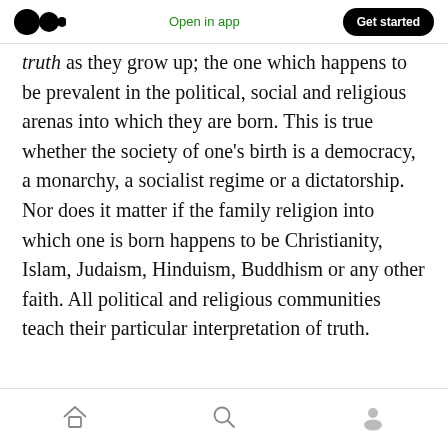Medium logo | Open in app | Get started
truth as they grow up; the one which happens to be prevalent in the political, social and religious arenas into which they are born. This is true whether the society of one's birth is a democracy, a monarchy, a socialist regime or a dictatorship. Nor does it matter if the family religion into which one is born happens to be Christianity, Islam, Judaism, Hinduism, Buddhism or any other faith. All political and religious communities teach their particular interpretation of truth.
Home | Search | Profile